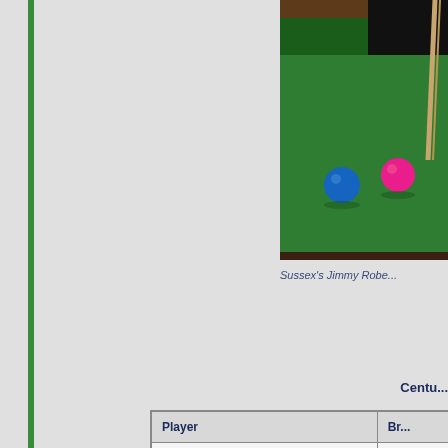[Figure (photo): Snooker table with blue and pink balls on green baize, player's cue visible at right edge]
Sussex's Jimmy Robe...
Centu...
| Player | Br... |
| --- | --- |
| MARCO FU | 14... |
| MARCUS CAMPBELL | 13... |
| MARK DAVIS | 13... |
| YU DE LU | 13... |